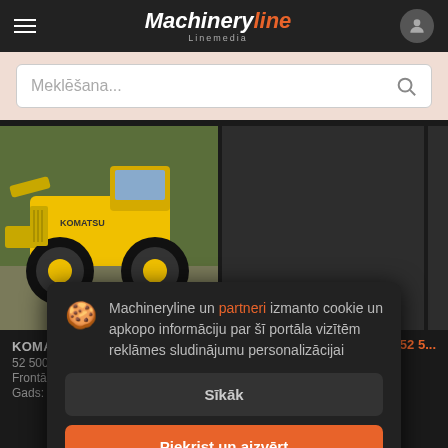Machineryline Linemedia
Meklēšana...
[Figure (photo): Yellow Komatsu WA 200-7 wheel loader photographed from the front-side, showing the bucket and large wheels. Machine is yellow with Komatsu branding visible.]
KOMATSU WA 200-7
52 500 €
Frontālais iekrāvējs
Gads: 2015
Machineryline un partneri izmanto cookie un apkopo informāciju par šī portāla vizītēm reklāmes sludinājumu personalizācijai
Sīkāk
Piekrist un aizvērt